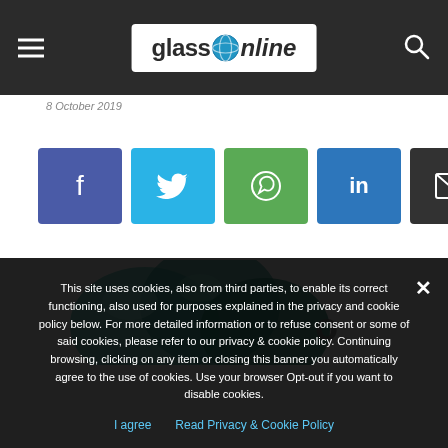glassOnline
8 October 2019
[Figure (infographic): Row of six social sharing buttons: Facebook (blue), Twitter (cyan), WhatsApp (green), LinkedIn (blue), Email (dark), Print (grey)]
[Figure (logo): Partial glassolite or similar brand logo with teal/green glass bubble shapes]
This site uses cookies, also from third parties, to enable its correct functioning, also used for purposes explained in the privacy and cookie policy below. For more detailed information or to refuse consent or some of said cookies, please refer to our privacy & cookie policy. Continuing browsing, clicking on any item or closing this banner you automatically agree to the use of cookies. Use your browser Opt-out if you want to disable cookies.
I agree   Read Privacy & Cookie Policy